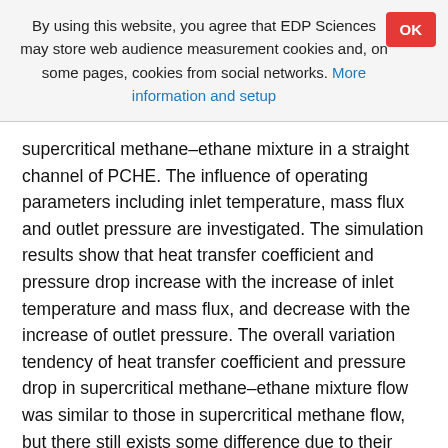By using this website, you agree that EDP Sciences may store web audience measurement cookies and, on some pages, cookies from social networks. More information and setup
supercritical methane–ethane mixture in a straight channel of PCHE. The influence of operating parameters including inlet temperature, mass flux and outlet pressure are investigated. The simulation results show that heat transfer coefficient and pressure drop increase with the increase of inlet temperature and mass flux, and decrease with the increase of outlet pressure. The overall variation tendency of heat transfer coefficient and pressure drop in supercritical methane–ethane mixture flow was similar to those in supercritical methane flow, but there still exists some difference due to their different physical properties. For the value of heat transfer coefficient, supercritical methane flow is about 7% larger than that of supercritical methane–ethane mixture flow. And for frictional pressure drop, supercritical methane